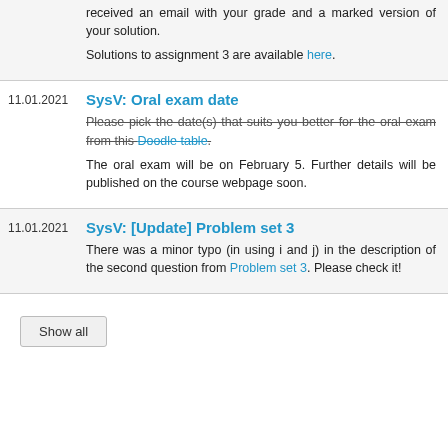received an email with your grade and a marked version of your solution. Solutions to assignment 3 are available here.
SysV: Oral exam date
Please pick the date(s) that suits you better for the oral exam from this Doodle table.
The oral exam will be on February 5. Further details will be published on the course webpage soon.
SysV: [Update] Problem set 3
There was a minor typo (in using i and j) in the description of the second question from Problem set 3. Please check it!
Show all